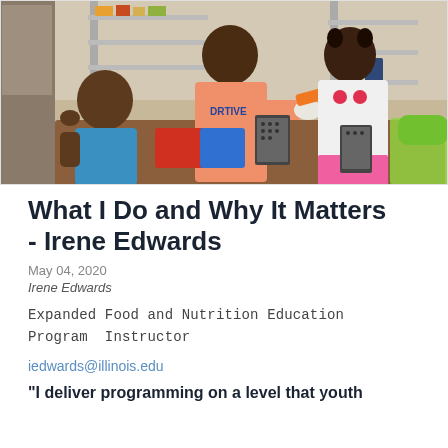[Figure (photo): Three children around a table doing a cooking or food preparation activity. One child in a peach shirt labeled 'DRTIVE' is grating an orange vegetable (carrot). A younger child in a blue shirt watches. Another child in a Minnie Mouse shirt is also at the table. Kitchen/classroom supplies visible in background.]
What I Do and Why It Matters - Irene Edwards
May 04, 2020
Irene Edwards
Expanded Food and Nutrition Education Program Instructor
iedwards@illinois.edu
"I deliver programming on a level that youth